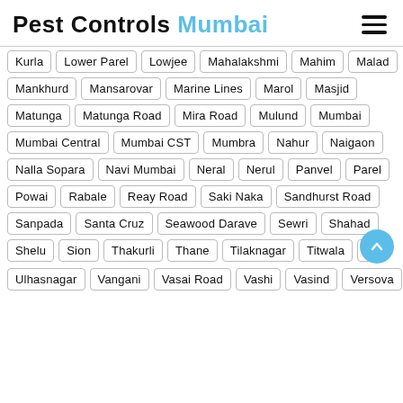Pest Controls Mumbai
Kurla
Lower Parel
Lowjee
Mahalakshmi
Mahim
Malad
Mankhurd
Mansarovar
Marine Lines
Marol
Masjid
Matunga
Matunga Road
Mira Road
Mulund
Mumbai
Mumbai Central
Mumbai CST
Mumbra
Nahur
Naigaon
Nalla Sopara
Navi Mumbai
Neral
Nerul
Panvel
Parel
Powai
Rabale
Reay Road
Saki Naka
Sandhurst Road
Sanpada
Santa Cruz
Seawood Darave
Sewri
Shahad
Shelu
Sion
Thakurli
Thane
Tilaknagar
Titwala
Tu…
Ulhasnagar
Vangani
Vasai Road
Vashi
Vasind
Versova